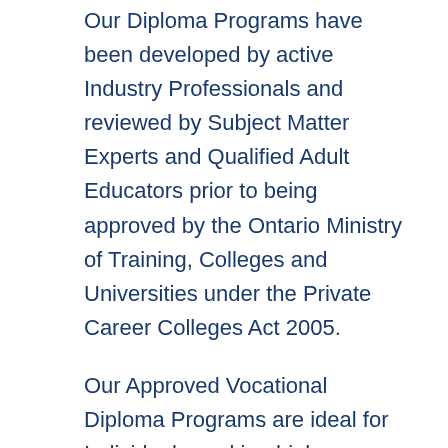Our Diploma Programs have been developed by active Industry Professionals and reviewed by Subject Matter Experts and Qualified Adult Educators prior to being approved by the Ontario Ministry of Training, Colleges and Universities under the Private Career Colleges Act 2005.
Our Approved Vocational Diploma Programs are ideal for Individuals seeking higher education for a new Career path. For Professionals looking to add on skills, our Certificate programs are screened and compliant with the Private Career Colleges Act 2005 and are designed to help Professionals meet their continuing education goals, while also providing aspiring Individuals a